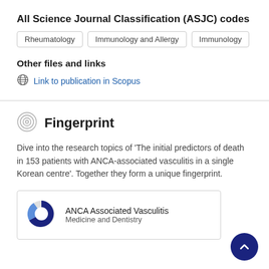All Science Journal Classification (ASJC) codes
Rheumatology
Immunology and Allergy
Immunology
Other files and links
Link to publication in Scopus
Fingerprint
Dive into the research topics of 'The initial predictors of death in 153 patients with ANCA-associated vasculitis in a single Korean centre'. Together they form a unique fingerprint.
ANCA Associated Vasculitis
Medicine and Dentistry